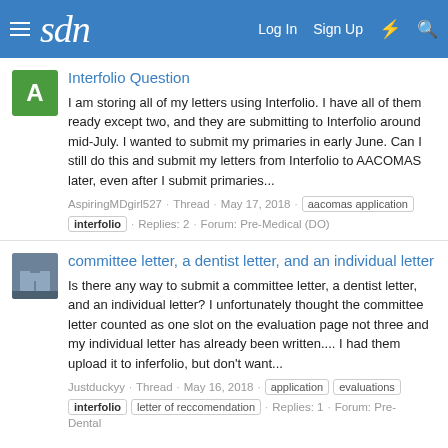sdn | Log In | Sign Up
Interfolio Question
I am storing all of my letters using Interfolio. I have all of them ready except two, and they are submitting to Interfolio around mid-July. I wanted to submit my primaries in early June. Can I still do this and submit my letters from Interfolio to AACOMAS later, even after I submit primaries...
AspiringMDgirl527 · Thread · May 17, 2018 · aacomas application · interfolio · Replies: 2 · Forum: Pre-Medical (DO)
committee letter, a dentist letter, and an individual letter
Is there any way to submit a committee letter, a dentist letter, and an individual letter? I unfortunately thought the committee letter counted as one slot on the evaluation page not three and my individual letter has already been written.... I had them upload it to inferfolio, but don't want...
Justduckyy · Thread · May 16, 2018 · application · evaluations · interfolio · letter of reccomendation · Replies: 1 · Forum: Pre-Dental